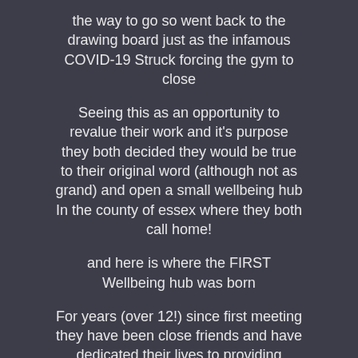the way to go so went back to the drawing board just as the infamous COVID-19 Struck forcing the gym to close
Seeing this as an opportunity to revalue their work and it's purpose they both decided they would be true to their original word (although not as grand) and open a small wellbeing hub In the county of essex where they both call home!
and here is where the FIRST Wellbeing hub was born
For years (over 12!) since first meeting they have been close friends and have dedicated their lives to providing affordable wellbeing services through the different careers in the physical and mental health industry